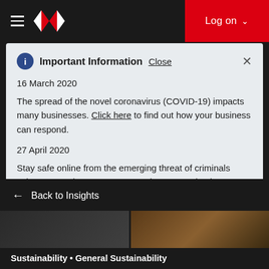HSBC navigation bar with logo and Log on button
Important Information  Close
16 March 2020
The spread of the novel coronavirus (COVID-19) impacts many businesses. Click here to find out how your business can respond.
27 April 2020
Stay safe online from the emerging threat of criminals using coronavirus as an opportunity to scam businesses. Find out more on how you can protect yourself.
← Back to Insights
Sustainability • General Sustainability